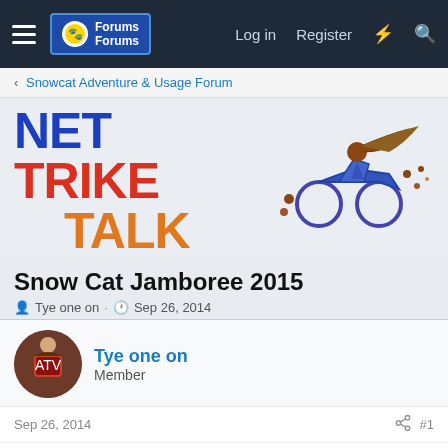Forums Forums | Log in | Register
Snowcat Adventure & Usage Forum
[Figure (logo): Net Trike Talk forum logo with blue NET text, red TRIKE text, orange TALK text and a motorcycle with rider illustration]
Snow Cat Jamboree 2015
Tye one on · Sep 26, 2014
Tye one on
Member
Sep 26, 2014
#1
This is the official save the Date for Snow Cat Jamboree 2015. Jamboree will be held in Leavenworth WA on January 22nd through 25th with a day outing into Derby Canyon with the cats on the 24th. I will be updating this thread and the